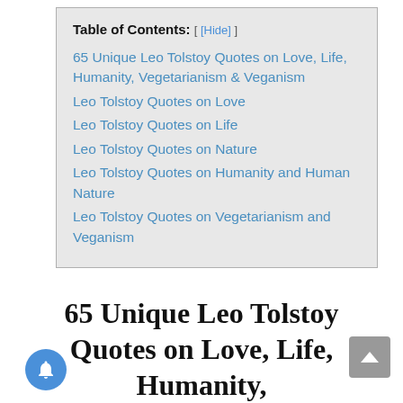Table of Contents: [ [Hide] ]
65 Unique Leo Tolstoy Quotes on Love, Life, Humanity, Vegetarianism & Veganism
Leo Tolstoy Quotes on Love
Leo Tolstoy Quotes on Life
Leo Tolstoy Quotes on Nature
Leo Tolstoy Quotes on Humanity and Human Nature
Leo Tolstoy Quotes on Vegetarianism and Veganism
65 Unique Leo Tolstoy Quotes on Love, Life, Humanity, Vegetarianism &